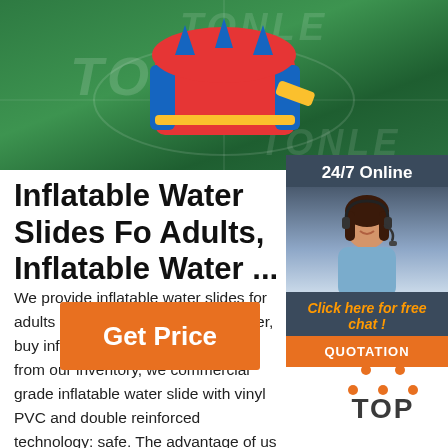[Figure (photo): Hero image showing an inflatable bounce house/water slide on a green background with TONLE watermark text]
[Figure (other): Chat widget showing a customer service representative with headset, '24/7 Online' text, 'Click here for free chat!' link, and QUOTATION button]
Inflatable Water Slides Fo Adults, Inflatable Water ...
We provide inflatable water slides for adults t East Inflatables manufacturer, buy inflatable with a great selection from our inventory, we commercial grade inflatable water slide with vinyl PVC and double reinforced technology: safe. The advantage of us to other cheap inf manufacturers are that wholesale price, fast shipping ...
[Figure (other): Orange 'Get Price' button]
[Figure (logo): TOP logo with orange dots arranged in triangle above 'TOP' text in dark grey]